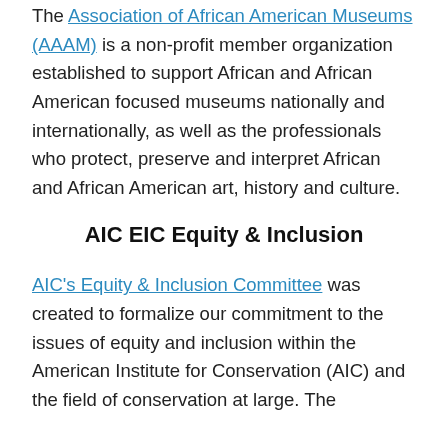The Association of African American Museums (AAAM) is a non-profit member organization established to support African and African American focused museums nationally and internationally, as well as the professionals who protect, preserve and interpret African and African American art, history and culture.
AIC EIC Equity & Inclusion
AIC's Equity & Inclusion Committee was created to formalize our commitment to the issues of equity and inclusion within the American Institute for Conservation (AIC) and the field of conservation at large. The